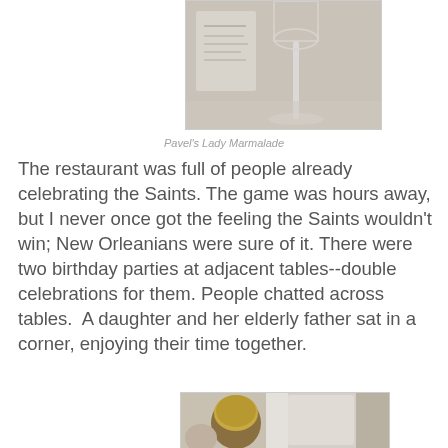[Figure (photo): Top portion of a photo showing a wine glass on a table at a restaurant, partially cropped at the top of the page]
Pavel's Lady Marmalade
The restaurant was full of people already celebrating the Saints. The game was hours away, but I never once got the feeling the Saints wouldn't win; New Orleanians were sure of it. There were two birthday parties at adjacent tables--double celebrations for them. People chatted across tables.  A daughter and her elderly father sat in a corner, enjoying their time together.
[Figure (photo): Bottom portion of a photo showing a woman with blonde hair and an elderly man sitting together at a restaurant corner table, viewed from behind]